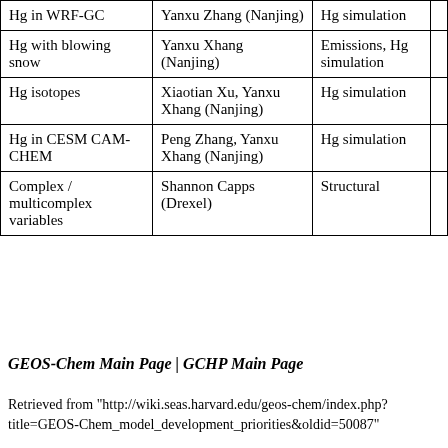|  |  |  |  |
| --- | --- | --- | --- |
| Hg in WRF-GC | Yanxu Zhang (Nanjing) | Hg simulation |  |
| Hg with blowing snow | Yanxu Xhang (Nanjing) | Emissions, Hg simulation |  |
| Hg isotopes | Xiaotian Xu, Yanxu Xhang (Nanjing) | Hg simulation |  |
| Hg in CESM CAM-CHEM | Peng Zhang, Yanxu Xhang (Nanjing) | Hg simulation |  |
| Complex / multicomplex variables | Shannon Capps (Drexel) | Structural |  |
GEOS-Chem Main Page | GCHP Main Page
Retrieved from "http://wiki.seas.harvard.edu/geos-chem/index.php?title=GEOS-Chem_model_development_priorities&oldid=50087"